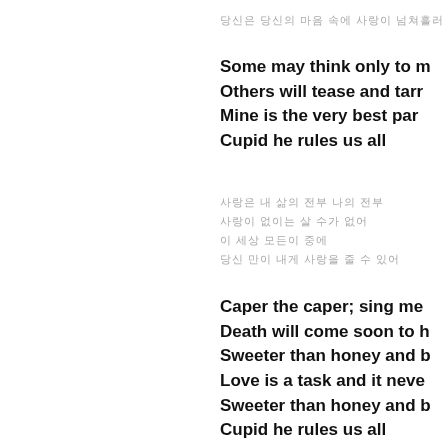당신은 당신의 마음 속에 사랑이 넘쳐흘러
Some may think only to marry
Others will tease and tarry
Mine is the very best parry
Cupid he rules us all
사랑은 내 삶의 전부 나의 전부
사랑이 없이는 살 수가 없어
이 세상 모든이 중에
당신 만이 내게 사랑을 줄 수 있어
Caper the caper; sing me a song
Death will come soon to hush us along
Sweeter than honey and bees on the comb
Love is a task and it never gets done
Sweeter than honey and bees on the comb
Cupid he rules us all